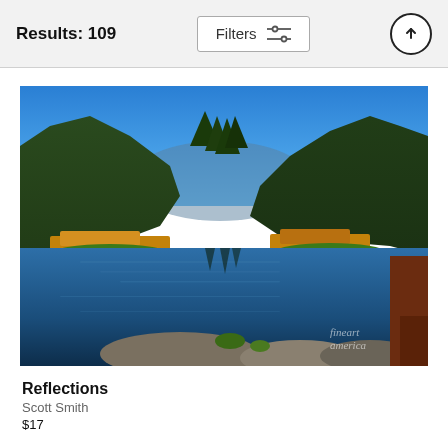Results: 109
[Figure (photo): Landscape photo of a reflective mountain lake surrounded by pine trees and autumn foliage, with rocks and a wooden structure visible in the foreground, watermark reads 'fine art america']
Reflections
Scott Smith
$17